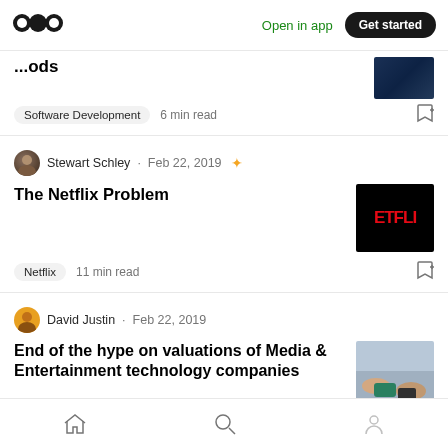Medium — Open in app | Get started
[Figure (screenshot): Partial article top showing cropped title text and dark blue thumbnail image]
Software Development  6 min read
Stewart Schley · Feb 22, 2019 ★
The Netflix Problem
[Figure (logo): Netflix logo thumbnail showing ETFLI on black background]
Netflix  11 min read
David Justin · Feb 22, 2019
End of the hype on valuations of Media & Entertainment technology companies
[Figure (photo): Business people hands on table with phone thumbnail]
Cloud  5 min read
Home | Search | Profile